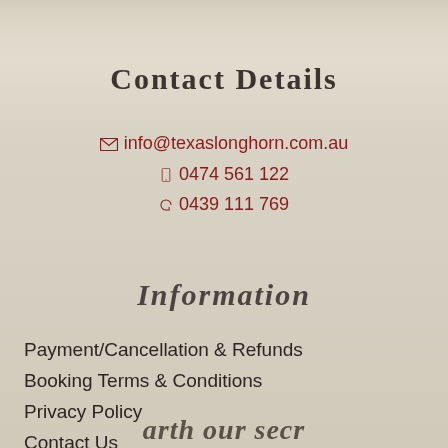Contact Details
✉ info@texaslonghorn.com.au
📱 0474 561 122
📞 0439 111 769
Information
Payment/Cancellation & Refunds
Booking Terms & Conditions
Privacy Policy
Contact Us
arth our secr